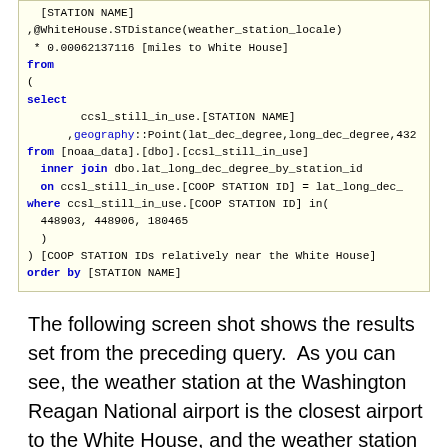[Figure (screenshot): SQL code block on yellow background showing a query with SELECT, FROM, INNER JOIN, WHERE, and ORDER BY clauses. Keywords are highlighted in blue. The query selects station name and geography point from noaa_data ccsl_still_in_use table joined with lat_long_dec_degree_by_station_id, filtered by specific COOP STATION IDs (448903, 448906, 180465), ordered by STATION NAME. Calculates miles to White House using STDistance.]
The following screen shot shows the results set from the preceding query. As you can see, the weather station at the Washington Reagan National airport is the closest airport to the White House, and the weather station at the Baltimore-Washington International airport is the farthest of